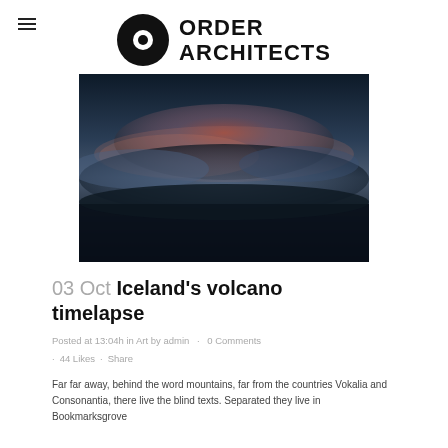ORDER ARCHITECTS
[Figure (photo): Blurred atmospheric photo of an Icelandic volcanic landscape with dark blue sky and reddish-orange cloud glow near the horizon]
03 Oct Iceland's volcano timelapse
Posted at 13:04h in Art by admin · 0 Comments
· 44 Likes · Share
Far far away, behind the word mountains, far from the countries Vokalia and Consonantia, there live the blind texts. Separated they live in Bookmarksgrove